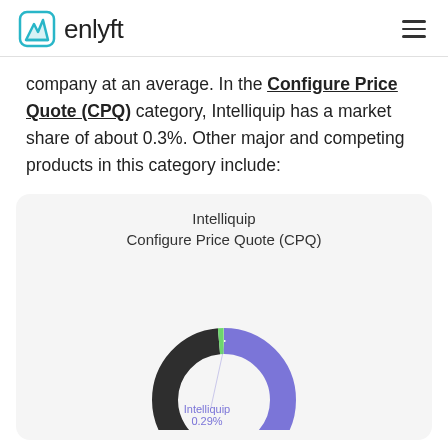enlyft
company at an average. In the Configure Price Quote (CPQ) category, Intelliquip has a market share of about 0.3%. Other major and competing products in this category include:
[Figure (donut-chart): Donut chart showing Intelliquip market share of 0.29% in Configure Price Quote (CPQ) category. Purple/periwinkle large segment, dark segment, and small green segment for Intelliquip.]